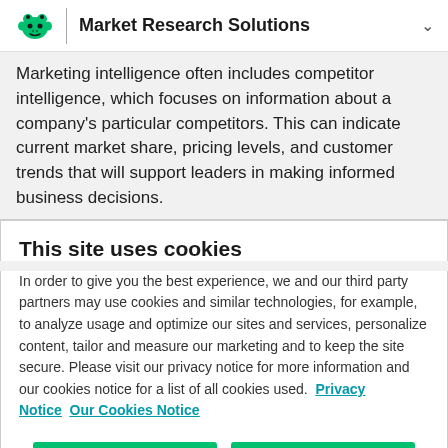Market Research Solutions
Marketing intelligence often includes competitor intelligence, which focuses on information about a company's particular competitors. This can indicate current market share, pricing levels, and customer trends that will support leaders in making informed business decisions.
This site uses cookies
In order to give you the best experience, we and our third party partners may use cookies and similar technologies, for example, to analyze usage and optimize our sites and services, personalize content, tailor and measure our marketing and to keep the site secure. Please visit our privacy notice for more information and our cookies notice for a list of all cookies used.  Privacy Notice  Our Cookies Notice
Cookie preferences  Accept all cookies